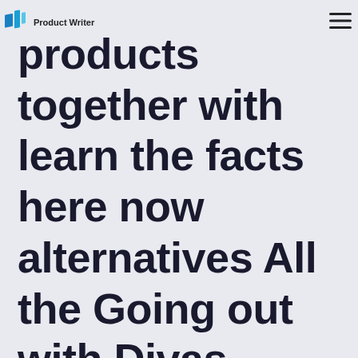products together
products together with learn the facts here now alternatives All the Going out with Divas